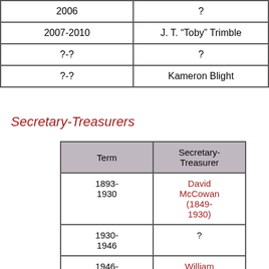| Term | Name |
| --- | --- |
| 2006 | ? |
| 2007-2010 | J. T. “Toby” Trimble |
| ?-? | ? |
| ?-? | Kameron Blight |
Secretary-Treasurers
| Term | Secretary-Treasurer |
| --- | --- |
| 1893-1930 | David McCowan (1849-1930) |
| 1930-1946 | ? |
| 1946-1983 | William Malcolm “Bill” McMillan |